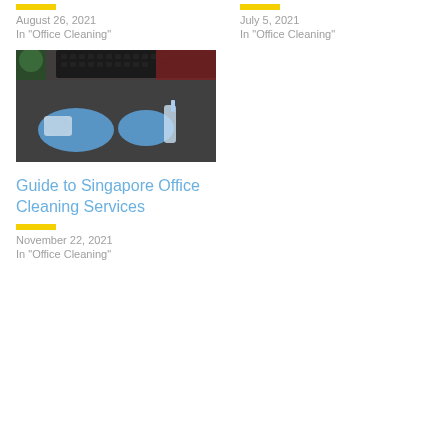August 26, 2021
In "Office Cleaning"
July 5, 2021
In "Office Cleaning"
[Figure (photo): Hands wearing blue gloves cleaning a dark desk surface with a spray bottle, keyboard and plant visible in background]
Guide to Singapore Office Cleaning Services
November 22, 2021
In "Office Cleaning"